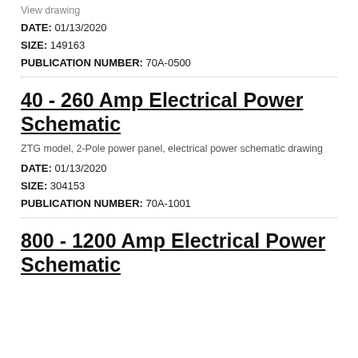View drawing
DATE: 01/13/2020
SIZE: 149163
PUBLICATION NUMBER: 70A-0500
40 - 260 Amp Electrical Power Schematic
ZTG model, 2-Pole power panel, electrical power schematic drawing
DATE: 01/13/2020
SIZE: 304153
PUBLICATION NUMBER: 70A-1001
800 - 1200 Amp Electrical Power Schematic